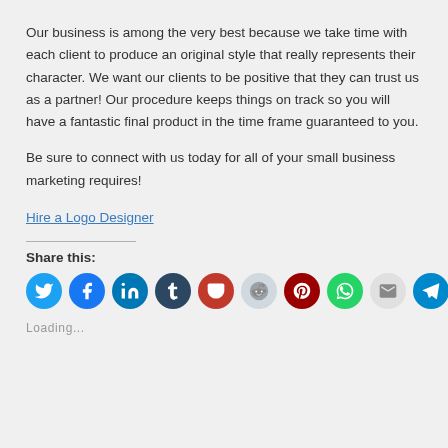Our business is among the very best because we take time with each client to produce an original style that really represents their character. We want our clients to be positive that they can trust us as a partner! Our procedure keeps things on track so you will have a fantastic final product in the time frame guaranteed to you.
Be sure to connect with us today for all of your small business marketing requires!
Hire a Logo Designer
Share this:
[Figure (infographic): Row of 10 social media share icons: Twitter (blue), Facebook (blue), LinkedIn (blue), Tumblr (dark navy), Pocket (red), Reddit (light blue/gray), Pinterest (dark red), WhatsApp (green), Email (light gray), Telegram (blue)]
Loading...